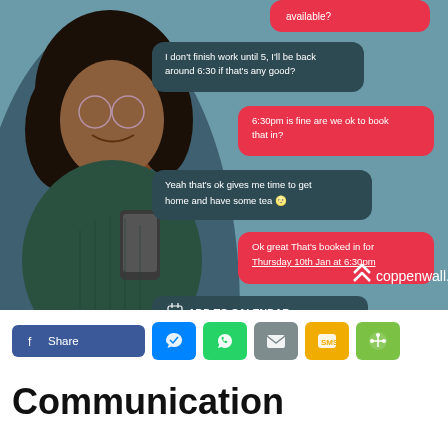[Figure (screenshot): A marketing image showing a woman holding a phone with overlaid chat bubbles demonstrating a booking conversation. Bubbles include: 'available?', 'I don't finish work until 5, I'll be back around 6:30 if that's any good?', '6:30pm is fine are we ok to book that in?', 'Yeah that's ok gives me time to get home and have some tea 🌝', 'Ok great That's booked in for Thursday 10th Jan at 6:30pm', 'ADD TO CALENDAR', and the coppenwall.com logo.]
[Figure (infographic): Row of share/social buttons: Facebook Share, Messenger, WhatsApp, Email, SMS, Share]
Communication